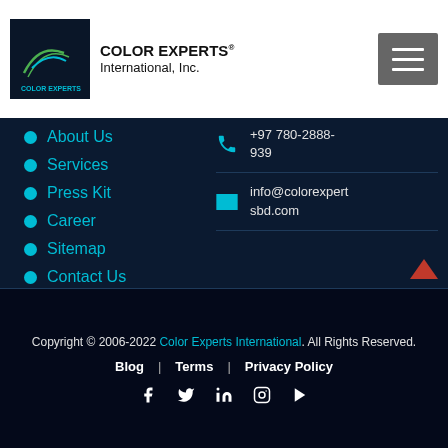COLOR EXPERTS International, Inc.
About Us
Services
Press Kit
Career
Sitemap
Contact Us
+97 780-2888-939
info@colorexpertsbd.com
358 Foxridge Dr Sw, Leesburg, Virginia 20175 United States.
Copyright © 2006-2022 Color Experts International. All Rights Reserved.
Blog | Terms | Privacy Policy